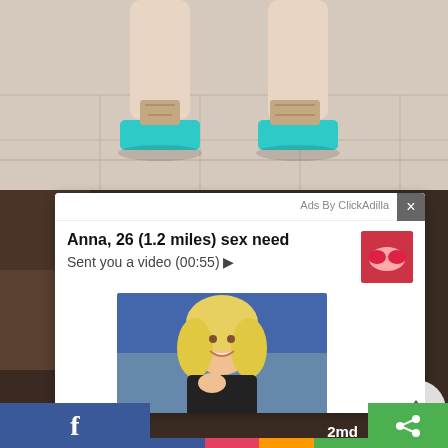[Figure (photo): Photo showing legs of a person wearing high heels with teal/turquoise platform soles on a light tile floor]
[Figure (screenshot): ClickAdilla ad overlay showing a dating/adult ad: 'Anna, 26 (1.2 miles) sex need' with 'Sent you a video (00:55)' and photos of a blonde woman]
[Figure (photo): Background photo partially visible on left side behind the ad overlay, dark toned image]
Ads By ClickAdilla
Anna, 26 (1.2 miles) sex need
Sent you a video (00:55) ▶
2md